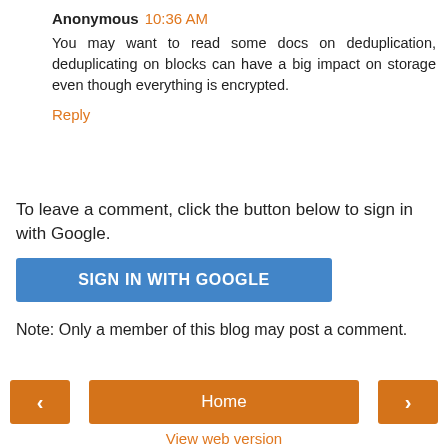Anonymous 10:36 AM
You may want to read some docs on deduplication, deduplicating on blocks can have a big impact on storage even though everything is encrypted.
Reply
To leave a comment, click the button below to sign in with Google.
SIGN IN WITH GOOGLE
Note: Only a member of this blog may post a comment.
< Home > View web version Powered by Blogger.